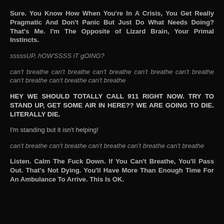Sure. You Know How When You're In A Crisis, You Get Really Pragmatic And Don't Panic But Just Do What Needs Doing? That's Me. I'm The Opposite of Lizard Brain, Your Primal Instincts.
sssssUP, hOW'SSSS iT gOING?
can't breathe can't breathe can't breathe can't breathe can't breathe can't breathe can't breathe can't breathe
HEY WE SHOULD TOTALLY CALL 911 RIGHT NOW. TRY TO STAND UP, GET SOME AIR IN HERE?? WE ARE GOING TO DIE. LITERALLY DIE.
I'm standing but it isn't helping!
can't breathe can't breathe can't breathe can't breathe can't breathe
Listen. Calm The Fuck Down. If You Can't Breathe, You'll Pass Out. That's Not Dying. You'll Have More Than Enough Time For An Ambulance To Arrive. This Is OK.